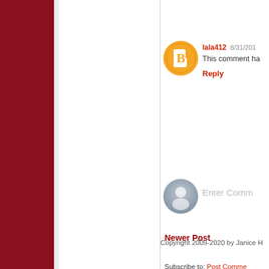[Figure (screenshot): Blog comment section showing user lala412 with avatar, date 8/31/201x, text 'This comment ha...' (truncated), Reply link, Enter Comment input field with user avatar placeholder, Newer Post link, Subscribe to Post Comments link, and Copyright 2009-2020 by Janice H footer. Dark red sidebar on left.]
lala412  8/31/201
This comment ha
Reply
Enter Comm
Newer Post
Subscribe to: Post Comme
Copyright 2009-2020 by Janice H